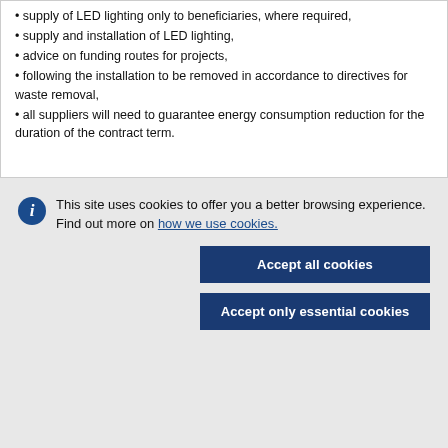supply of LED lighting only to beneficiaries, where required,
supply and installation of LED lighting,
advice on funding routes for projects,
following the installation to be removed in accordance to directives for waste removal,
all suppliers will need to guarantee energy consumption reduction for the duration of the contract term.
This site uses cookies to offer you a better browsing experience. Find out more on how we use cookies.